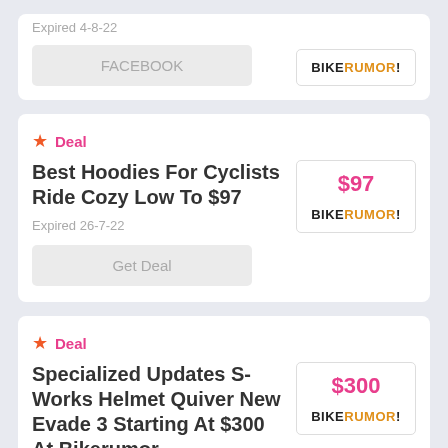Expired 4-8-22
FACEBOOK
[Figure (logo): BikeRumor logo]
Deal
Best Hoodies For Cyclists Ride Cozy Low To $97
$97
[Figure (logo): BikeRumor logo]
Expired 26-7-22
Get Deal
Deal
Specialized Updates S-Works Helmet Quiver New Evade 3 Starting At $300 At Bikerumor
$300
[Figure (logo): BikeRumor logo]
Expired 22-7-22